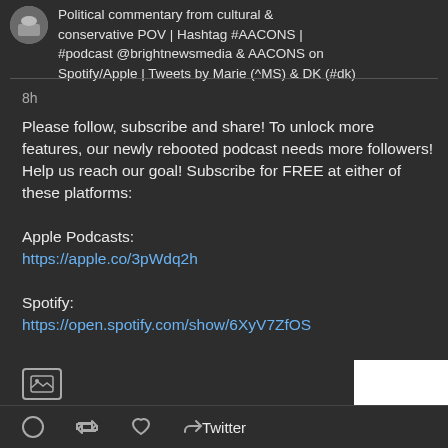Political commentary from cultural & conservative POV | Hashtag #AACONS | #podcast @brightnewsmedia & AACONS on Spotify/Apple | Tweets by Marie (^MS) & DK (#dk)
8h
Please follow, subscribe and share! To unlock more features, our newly rebooted podcast needs more followers! Help us reach our goal! Subscribe for FREE at either of these platforms:

Apple Podcasts:
https://apple.co/3pWdq2h

Spotify:
https://open.spotify.com/show/6XyV7ZfOS
[Figure (other): Image/media icon placeholder]
Twitter